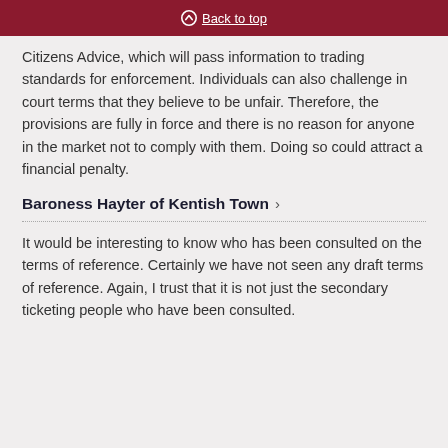Back to top
Citizens Advice, which will pass information to trading standards for enforcement. Individuals can also challenge in court terms that they believe to be unfair. Therefore, the provisions are fully in force and there is no reason for anyone in the market not to comply with them. Doing so could attract a financial penalty.
Baroness Hayter of Kentish Town
It would be interesting to know who has been consulted on the terms of reference. Certainly we have not seen any draft terms of reference. Again, I trust that it is not just the secondary ticketing people who have been consulted.